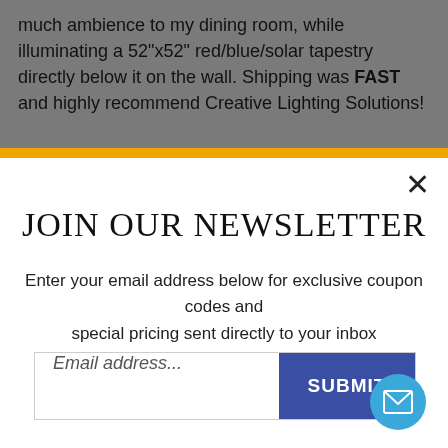much ambience to my dining room, while illuminating a 52"x52" red/blue/solar tapestry directly below it on the wall. Shipping was FAST and highly recommend Creative Lighting Solutions!
JOIN OUR NEWSLETTER
Enter your email address below for exclusive coupon codes and special pricing sent directly to your inbox
[Figure (screenshot): Email input field with placeholder 'Email address...' and a blue SUBMIT button]
[Figure (illustration): Teal/blue circular mail icon button in bottom-right corner]